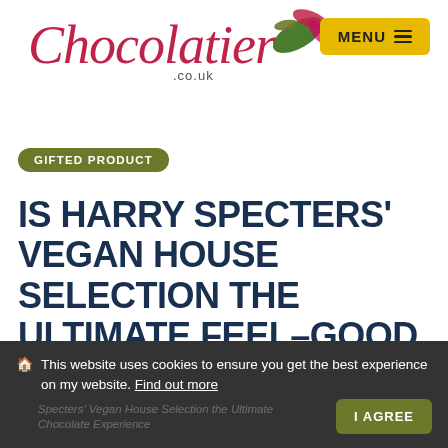[Figure (logo): Chocolatier.co.uk cursive logo in red/pink with a stylized green and pink cacao leaf graphic to the right]
[Figure (other): Yellow MENU button with hamburger icon in top right corner]
GIFTED PRODUCT
IS HARRY SPECTERS' VEGAN HOUSE SELECTION THE ULTIMATE FEEL-GOOD CHOCOLATE EXPERIENCE?
This website uses cookies to ensure you get the best experience on my website. Find out more  I AGREE